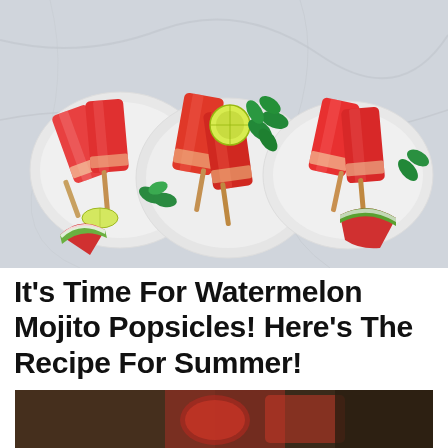[Figure (photo): Overhead view of three white plates on a marble surface, each holding watermelon mojito popsicles made with red watermelon ice and wooden sticks, garnished with lime slices, watermelon wedges, and fresh mint leaves.]
It’s Time For Watermelon Mojito Popsicles! Here’s The Recipe For Summer!
[Figure (photo): Partial view of a second food photo showing watermelon popsicles and ingredients, partially cropped at bottom of page.]